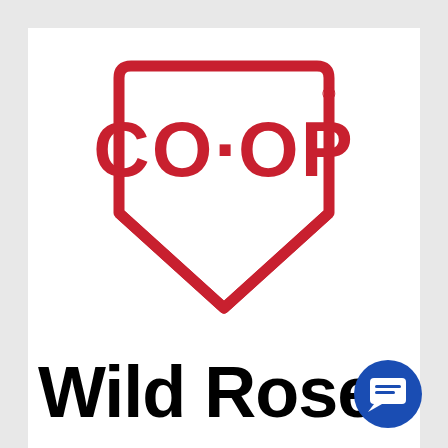[Figure (logo): CO-OP logo: red shield/badge shaped outline with rounded top corners and a V-shaped bottom chevron, containing the text CO-OP in bold red letters with a dot between CO and OP, and a registered trademark symbol at top right]
Wild Rose